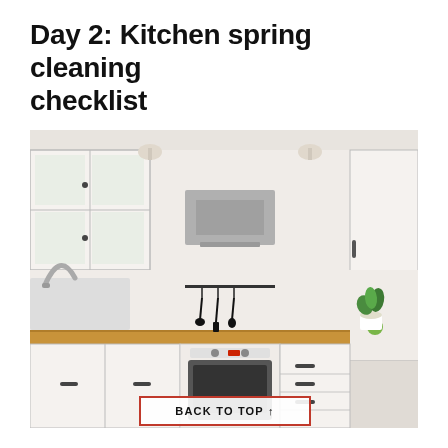Day 2: Kitchen spring cleaning checklist
[Figure (photo): A clean, modern white kitchen with upper glass-front cabinets, a stainless steel range hood, hanging utensils, a wooden countertop with a green apple, a potted herb plant, and a built-in white oven below the counter.]
BACK TO TOP ↑